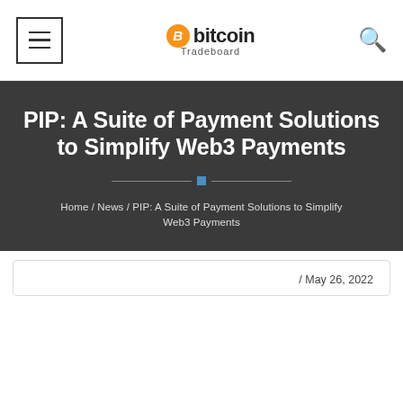Bitcoin Tradeboard — navigation header with menu icon, logo, and search icon
PIP: A Suite of Payment Solutions to Simplify Web3 Payments
Home / News / PIP: A Suite of Payment Solutions to Simplify Web3 Payments
/ May 26, 2022